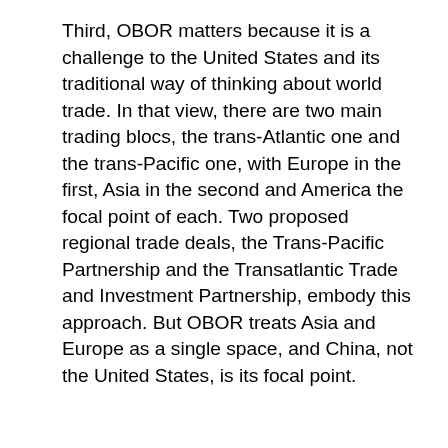Third, OBOR matters because it is a challenge to the United States and its traditional way of thinking about world trade. In that view, there are two main trading blocs, the trans-Atlantic one and the trans-Pacific one, with Europe in the first, Asia in the second and America the focal point of each. Two proposed regional trade deals, the Trans-Pacific Partnership and the Transatlantic Trade and Investment Partnership, embody this approach. But OBOR treats Asia and Europe as a single space, and China, not the United States, is its focal point.